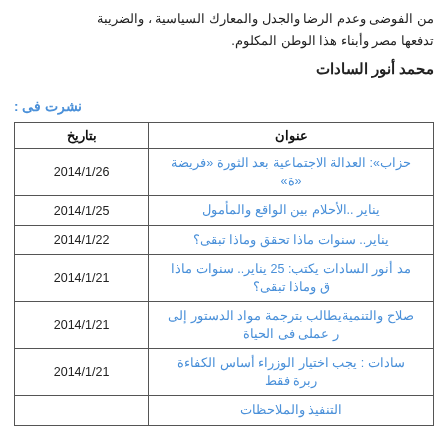من الفوضى وعدم الرضا والجدل والمعارك السياسية ، والضريبة تدفعها مصر وأبناء هذا الوطن المكلوم.
محمد أنور السادات
نشرت فى :
| عنوان | بتاريخ |
| --- | --- |
| حزاب»: العدالة الاجتماعية بعد الثورة «فريضة «ة» | 2014/1/26 |
| يناير ..الأحلام بين الواقع والمأمول | 2014/1/25 |
| يناير.. سنوات ماذا تحقق وماذا تبقى؟ | 2014/1/22 |
| مد أنور السادات يكتب: 25 يناير.. سنوات ماذا ق وماذا تبقى؟ | 2014/1/21 |
| صلاح والتنميةيطالب بترجمة مواد الدستور إلى ر عملى فى الحياة | 2014/1/21 |
| سادات : يجب اختيار الوزراء أساس الكفاءة ربرة فقط | 2014/1/21 |
| التنفيذ والملاحظات |  |